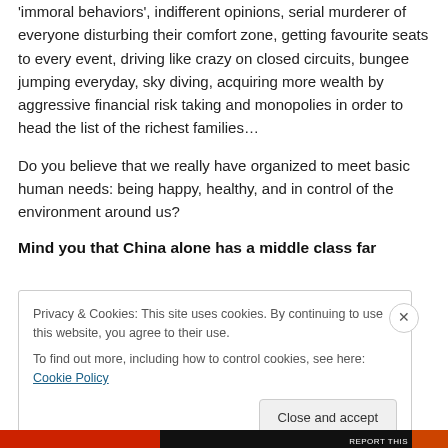'immoral behaviors', indifferent opinions, serial murderer of everyone disturbing their comfort zone, getting favourite seats to every event, driving like crazy on closed circuits, bungee jumping everyday, sky diving, acquiring more wealth by aggressive financial risk taking and monopolies in order to head the list of the richest families…
Do you believe that we really have organized to meet basic human needs: being happy, healthy, and in control of the environment around us?
Mind you that China alone has a middle class far
Privacy & Cookies: This site uses cookies. By continuing to use this website, you agree to their use.
To find out more, including how to control cookies, see here: Cookie Policy
Close and accept